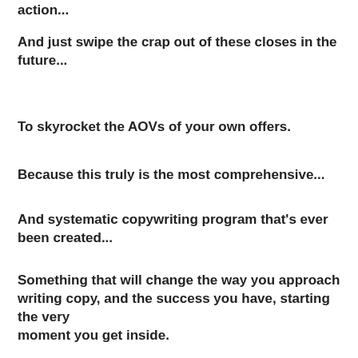action...
And just swipe the crap out of these closes in the future...
To skyrocket the AOVs of your own offers.
Because this truly is the most comprehensive...
And systematic copywriting program that's ever been created...
Something that will change the way you approach writing copy, and the success you have, starting the very moment you get inside.
I realllllllly should have just stopped here and called the training system a finished